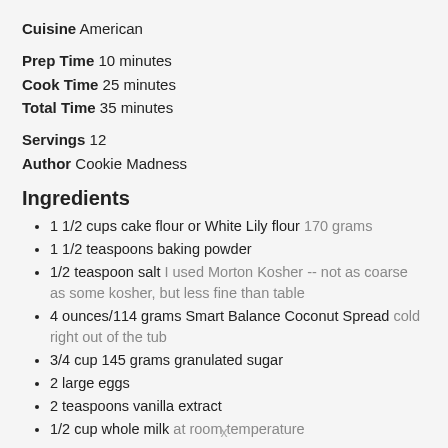Cuisine  American
Prep Time  10 minutes
Cook Time  25 minutes
Total Time  35 minutes
Servings  12
Author  Cookie Madness
Ingredients
1 1/2 cups cake flour or White Lily flour 170 grams
1 1/2 teaspoons baking powder
1/2 teaspoon salt I used Morton Kosher -- not as coarse as some kosher, but less fine than table
4 ounces/114 grams Smart Balance Coconut Spread cold right out of the tub
3/4 cup 145 grams granulated sugar
2 large eggs
2 teaspoons vanilla extract
1/2 cup whole milk at room temperature